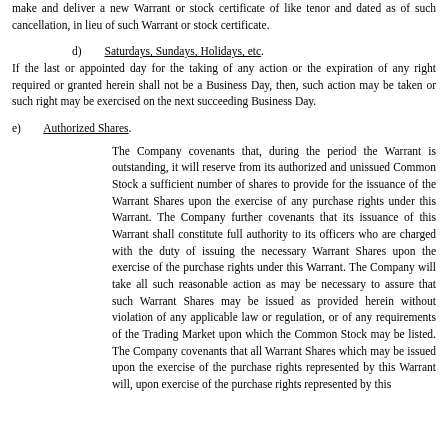make and deliver a new Warrant or stock certificate of like tenor and dated as of such cancellation, in lieu of such Warrant or stock certificate.
d) Saturdays, Sundays, Holidays, etc. If the last or appointed day for the taking of any action or the expiration of any right required or granted herein shall not be a Business Day, then, such action may be taken or such right may be exercised on the next succeeding Business Day.
e) Authorized Shares.
The Company covenants that, during the period the Warrant is outstanding, it will reserve from its authorized and unissued Common Stock a sufficient number of shares to provide for the issuance of the Warrant Shares upon the exercise of any purchase rights under this Warrant. The Company further covenants that its issuance of this Warrant shall constitute full authority to its officers who are charged with the duty of issuing the necessary Warrant Shares upon the exercise of the purchase rights under this Warrant. The Company will take all such reasonable action as may be necessary to assure that such Warrant Shares may be issued as provided herein without violation of any applicable law or regulation, or of any requirements of the Trading Market upon which the Common Stock may be listed. The Company covenants that all Warrant Shares which may be issued upon the exercise of the purchase rights represented by this Warrant will, upon exercise of the purchase rights represented by this